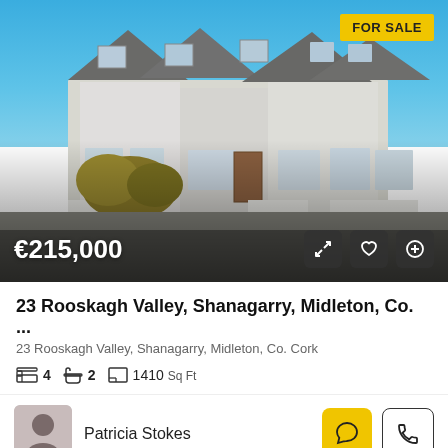[Figure (photo): Exterior photo of a row of white terraced houses with grey slate roofs under a blue sky. A yellow FOR SALE badge appears in the top right corner. Price €215,000 shown in white text bottom left. Three icon buttons (expand, heart, plus) shown bottom right.]
23 Rooskagh Valley, Shanagarry, Midleton, Co. ...
23 Rooskagh Valley, Shanagarry, Midleton, Co. Cork
4  2  1410 Sq Ft
Patricia Stokes